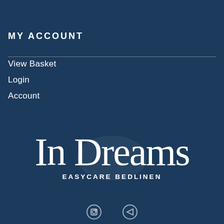MY ACCOUNT
View Basket
Login
Account
[Figure (logo): In Dreams Easycare Bedlinen logo — script text 'In Dreams' above bold uppercase 'EASYCARE BEDLINEN' on dark navy background]
[Figure (other): Social media icons at the bottom of the page]